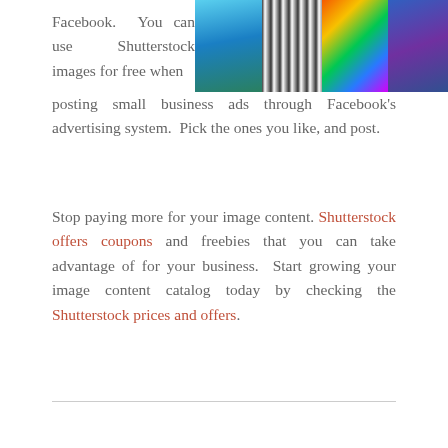Facebook.  You can use  Shutterstock images for free when posting small business ads through Facebook's advertising system.  Pick the ones you like, and post.
[Figure (photo): Collage of four stock photos including a tropical boat scene, a zebra, a rainbow/colorful image, and a man in a blue patterned shirt]
Stop paying more for your image content. Shutterstock offers coupons and freebies that you can take advantage of for your business.  Start growing your image content catalog today by checking the Shutterstock prices and offers.